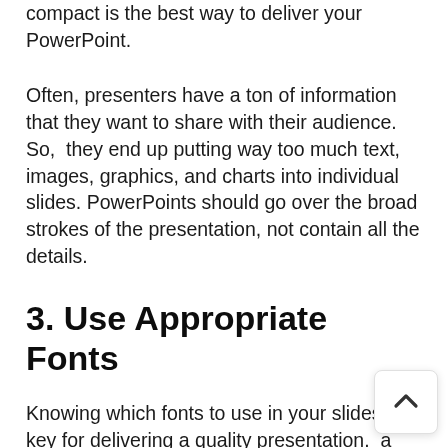compact is the best way to deliver your PowerPoint.
Often, presenters have a ton of information that they want to share with their audience. So, they end up putting way too much text, images, graphics, and charts into individual slides. PowerPoints should go over the broad strokes of the presentation, not contain all the details.
3. Use Appropriate Fonts
Knowing which fonts to use in your slides is key for delivering a quality presentation. a font that fits the type of presentation you're